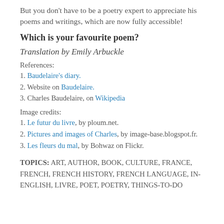But you don't have to be a poetry expert to appreciate his poems and writings, which are now fully accessible!
Which is your favourite poem?
Translation by Emily Arbuckle
References:
1. Baudelaire's diary.
2. Website on Baudelaire.
3. Charles Baudelaire, on Wikipedia
Image credits:
1. Le futur du livre, by ploum.net.
2. Pictures and images of Charles, by image-base.blogspot.fr.
3. Les fleurs du mal, by Bohwaz on Flickr.
TOPICS: ART, AUTHOR, BOOK, CULTURE, FRANCE, FRENCH, FRENCH HISTORY, FRENCH LANGUAGE, IN-ENGLISH, LIVRE, POET, POETRY, THINGS-TO-DO